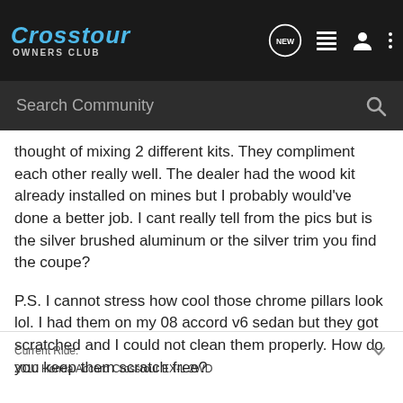Crosstour OWNERS CLUB
thought of mixing 2 different kits. They compliment each other really well. The dealer had the wood kit already installed on mines but I probably would've done a better job. I cant really tell from the pics but is the silver brushed aluminum or the silver trim you find the coupe?
P.S. I cannot stress how cool those chrome pillars look lol. I had them on my 08 accord v6 sedan but they got scratched and I could not clean them properly. How do you keep them scratch free?
Current Ride:
2010 Honda Accord Crosstour EX-L 2WD